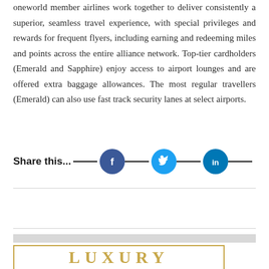oneworld member airlines work together to deliver consistently a superior, seamless travel experience, with special privileges and rewards for frequent flyers, including earning and redeeming miles and points across the entire alliance network. Top-tier cardholders (Emerald and Sapphire) enjoy access to airport lounges and are offered extra baggage allowances. The most regular travellers (Emerald) can also use fast track security lanes at select airports.
Share this...
[Figure (illustration): Social media share buttons: Facebook (dark blue circle with f logo), Twitter (light blue circle with bird logo), LinkedIn (blue circle with in logo)]
[Figure (illustration): Gray horizontal bar followed by a gold-bordered box with large gold serif letters spelling LUXURY]